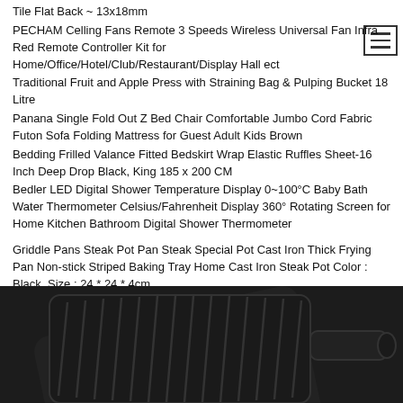Tile Flat Back ~ 13x18mm
PECHAM Celling Fans Remote 3 Speeds Wireless Universal Fan Infra Red Remote Controller Kit for Home/Office/Hotel/Club/Restaurant/Display Hall ect
Traditional Fruit and Apple Press with Straining Bag & Pulping Bucket 18 Litre
Panana Single Fold Out Z Bed Chair Comfortable Jumbo Cord Fabric Futon Sofa Folding Mattress for Guest Adult Kids Brown
Bedding Frilled Valance Fitted Bedskirt Wrap Elastic Ruffles Sheet-16 Inch Deep Drop Black, King 185 x 200 CM
Bedler LED Digital Shower Temperature Display 0~100°C Baby Bath Water Thermometer Celsius/Fahrenheit Display 360° Rotating Screen for Home Kitchen Bathroom Digital Shower Thermometer
Griddle Pans Steak Pot Pan Steak Special Pot Cast Iron Thick Frying Pan Non-stick Striped Baking Tray Home Cast Iron Steak Pot Color : Black, Size : 24 * 24 * 4cm
[Figure (photo): Cast iron griddle pan, black, square with ridged surface, photographed from above at an angle on white background.]